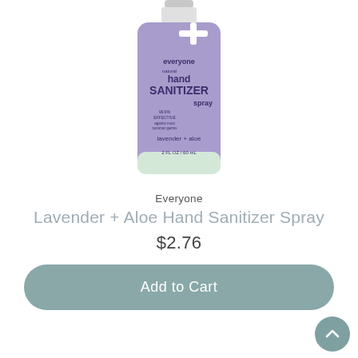[Figure (photo): Everyone brand natural hand sanitizer spray bottle in lavender color, labeled 'natural hand SANITIZER spray', 'lavender + aloe', '99.9% EFFECTIVE against most common germs', '2 FL OZ / 60 mL']
Everyone
Lavender + Aloe Hand Sanitizer Spray
$2.76
Add to Cart